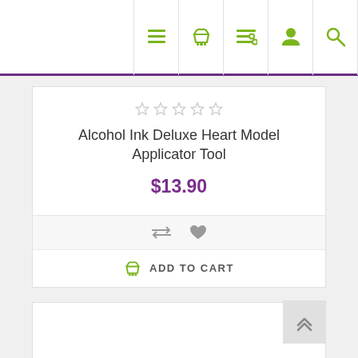[Figure (screenshot): E-commerce website navigation bar with green icons: hamburger menu, shopping basket, list/filter, user profile, and search magnifier. Purple bottom border.]
Alcohol Ink Deluxe Heart Model Applicator Tool
$13.90
[Figure (infographic): Action icons: compare (arrows) and wishlist (heart)]
ADD TO CART
[Figure (infographic): Back to top button with double up-arrow chevron]